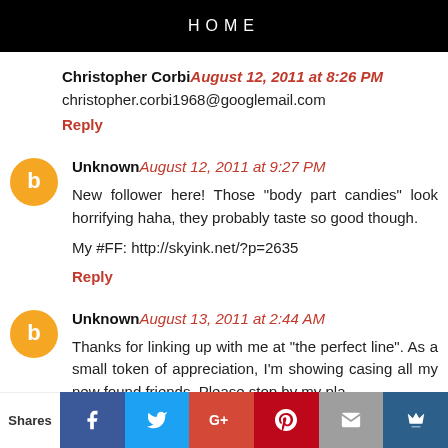HOME
Christopher Corbi August 12, 2011 at 8:26 PM
christopher.corbi1968@googlemail.com
Reply
Unknown August 12, 2011 at 9:27 PM
New follower here! Those "body part candies" look horrifying haha, they probably taste so good though.
My #FF: http://skyink.net/?p=2635
Reply
Unknown August 13, 2011 at 2:44 AM
Thanks for linking up with me at "the perfect line". As a small token of appreciation, I'm showing casing all my new found friends. Please stop by my place...